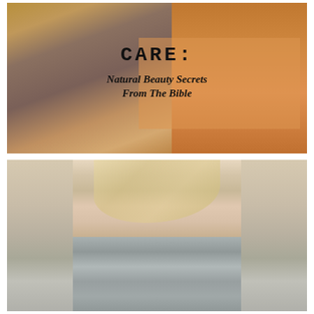[Figure (illustration): Top image: woman looking in an ornate gold-framed mirror, warm orange/amber tones, with a semi-transparent orange overlay box containing the title text 'CARE: Natural Beauty Secrets From The Bible']
CARE: Natural Beauty Secrets From The Bible
[Figure (photo): Bottom image: young blonde woman with straight hair wearing a grey/sage scoop-neck top, photographed against a neutral beige-grey background, looking at camera]